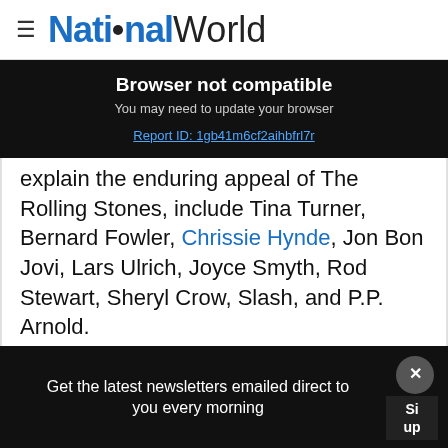NationalWorld
Browser not compatible
You may need to update your browser
Report ID: 1gb41m6cf2aihbfrl7r
explain the enduring appeal of The Rolling Stones, include Tina Turner, Bernard Fowler, Chrissie Hynde, Jon Bon Jovi, Lars Ulrich, Joyce Smyth, Rod Stewart, Sheryl Crow, Slash, and P.P. Arnold.
[Figure (photo): Pick n Pay advertisement: Everyday Exceptional, ANY 2 for R39, Simba Potato Chips Assorted 120g, SEE DEALS]
Th... Andy Summers, Anna Sui, Brian Johnson,
Get the latest newsletters emailed direct to you every morning